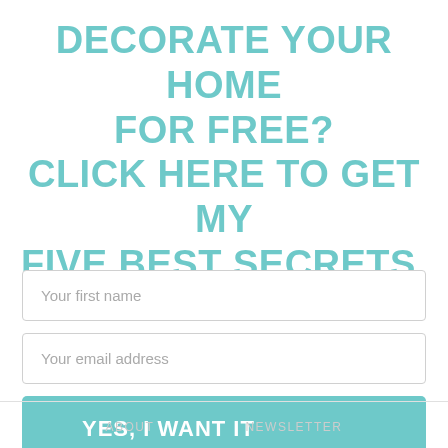DECORATE YOUR HOME FOR FREE? CLICK HERE TO GET MY FIVE BEST SECRETS.
Your first name
Your email address
YES, I WANT IT
ABOUT    NEWSLETTER